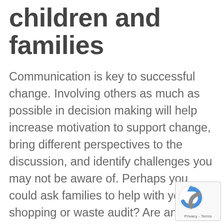children and families
Communication is key to successful change. Involving others as much as possible in decision making will help increase motivation to support change, bring different perspectives to the discussion, and identify challenges you may not be aware of. Perhaps you could ask families to help with your shopping or waste audit? Are any families or staff working on reducing their plastic use at home? – they could provide valuable insight to help with your transition. Get children and educators involved in the audits and deciding what plastic items to switch to alternatives! Staff committee meetings are a great way to get educators' and/or parents' thoughts and
[Figure (logo): reCAPTCHA badge with spinning arrow icon and Privacy - Terms text]